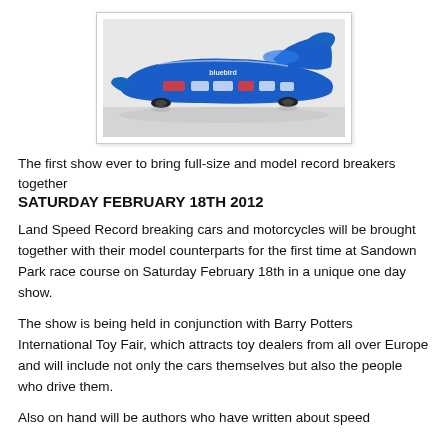[Figure (photo): A blue streamlined Land Speed Record car (Bluebird) photographed from the side on a white background, with sponsor decals visible.]
The first show ever to bring full-size and model record breakers together
SATURDAY FEBRUARY 18TH 2012
Land Speed Record breaking cars and motorcycles will be brought together with their model counterparts for the first time at Sandown Park race course on Saturday February 18th in a unique one day show.
The show is being held in conjunction with Barry Potters International Toy Fair, which attracts toy dealers from all over Europe and will include not only the cars themselves but also the people who drive them.
Also on hand will be authors who have written about speed